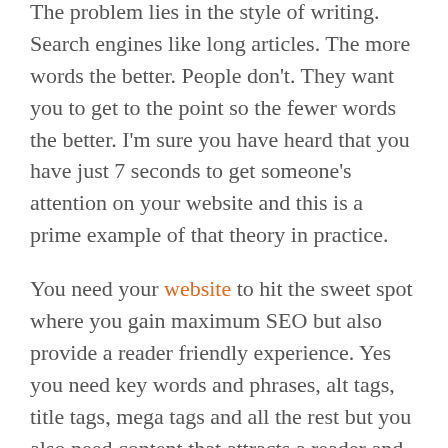The problem lies in the style of writing. Search engines like long articles. The more words the better. People don't. They want you to get to the point so the fewer words the better. I'm sure you have heard that you have just 7 seconds to get someone's attention on your website and this is a prime example of that theory in practice.
You need your website to hit the sweet spot where you gain maximum SEO but also provide a reader friendly experience. Yes you need key words and phrases, alt tags, title tags, mega tags and all the rest but you also need content that attracts a reader and encourages them to want to know more about you and your business.